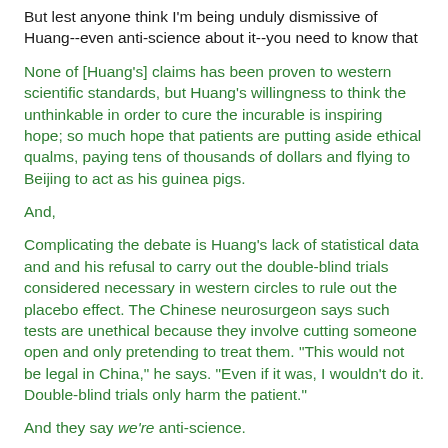But lest anyone think I'm being unduly dismissive of Huang--even anti-science about it--you need to know that
None of [Huang's] claims has been proven to western scientific standards, but Huang's willingness to think the unthinkable in order to cure the incurable is inspiring hope; so much hope that patients are putting aside ethical qualms, paying tens of thousands of dollars and flying to Beijing to act as his guinea pigs.
And,
Complicating the debate is Huang's lack of statistical data and and his refusal to carry out the double-blind trials considered necessary in western circles to rule out the placebo effect. The Chinese neurosurgeon says such tests are unethical because they involve cutting someone open and only pretending to treat them. "This would not be legal in China," he says. "Even if it was, I wouldn't do it. Double-blind trials only harm the patient."
And they say we're anti-science.
Lastly, I should point out that Laura's father, Daryl, whom the